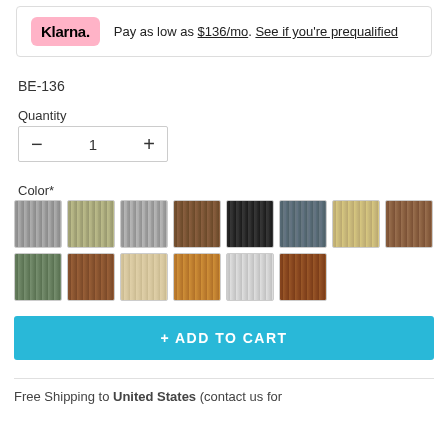Klarna. Pay as low as $136/mo. See if you're prequalified
BE-136
Quantity
Color*
[Figure (other): Color swatch grid showing 14 fabric/material color options in two rows, various wood/fabric tones]
+ ADD TO CART
Free Shipping to United States (contact us for